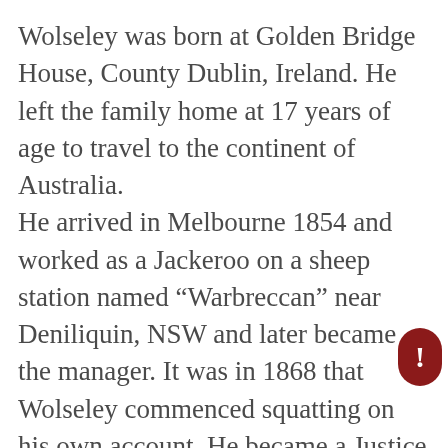Wolseley was born at Golden Bridge House, County Dublin, Ireland. He left the family home at 17 years of age to travel to the continent of Australia. He arrived in Melbourne 1854 and worked as a Jackeroo on a sheep station named “Warbreccan” near Deniliquin, NSW and later became the manager. It was in 1868 that Wolseley commenced squatting on his own account. He became a Justice of the Peace in 1870 and